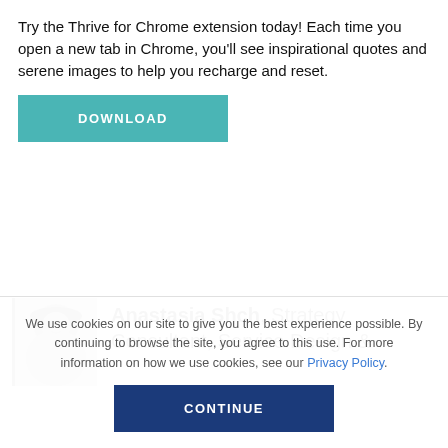Try the Thrive for Chrome extension today! Each time you open a new tab in Chrome, you'll see inspirational quotes and serene images to help you recharge and reset.
[Figure (screenshot): Teal/green DOWNLOAD button]
[Figure (photo): Black and white photo of Anastasia Shch wearing a wide-brim hat]
Anastasia Shch, Strategy Consultant, Service Design &
We use cookies on our site to give you the best experience possible. By continuing to browse the site, you agree to this use. For more information on how we use cookies, see our Privacy Policy.
[Figure (screenshot): Dark blue CONTINUE button]